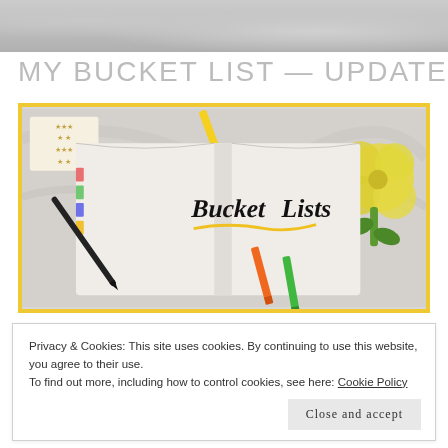[Figure (photo): Partial top image showing a marble surface, cropped at the top of the page]
MY BUCKET LIST — UPDATED!
[Figure (photo): Open notebook with 'Bucket Lists' written in brush script lettering, surrounded by colorful markers (yellow, orange, green), a black pen, yellow flowers, and a star-patterned box on a marble surface. Yellow border around the image.]
Privacy & Cookies: This site uses cookies. By continuing to use this website, you agree to their use.
To find out more, including how to control cookies, see here: Cookie Policy
Close and accept